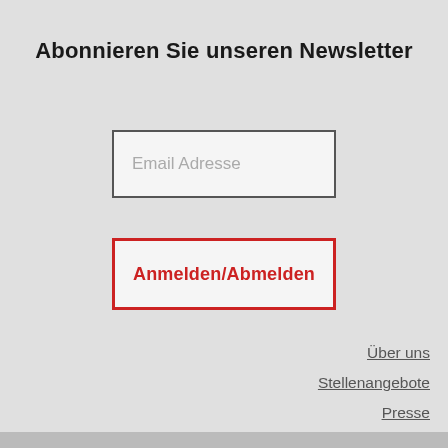Abonnieren Sie unseren Newsletter
Email Adresse
Anmelden/Abmelden
Über uns
Stellenangebote
Presse
Datenschutzerklärung
Impressum